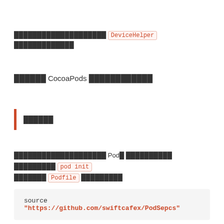████████████████████ DeviceHelper █████████████
██████ CocoaPods ████████████
██████
████████████████████ Pod█ ██████████ █████████ pod init █████████ Podfile █████████
source "https://github.com/swiftcafex/PodSepcs"